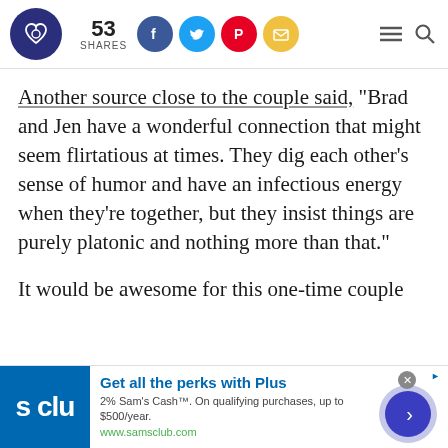53 SHARES
Another source close to the couple said, "Brad and Jen have a wonderful connection that might seem flirtatious at times. They dig each other’s sense of humor and have an infectious energy when they’re together, but they insist things are purely platonic and nothing more than that."
It would be awesome for this one-time couple
[Figure (other): Advertisement banner for Sam's Club Plus membership showing logo, text 'Get all the perks with Plus', '2% Sam’s Cash™. On qualifying purchases, up to $500/year.', 'www.samsclub.com', and a blue arrow button]